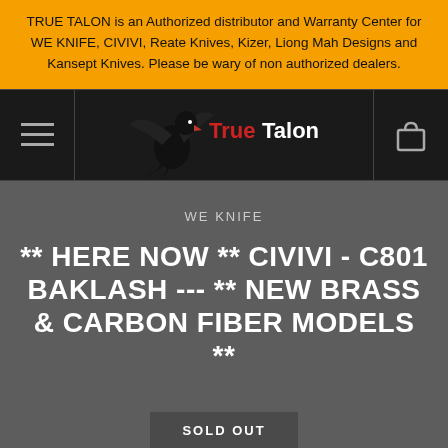TRUE TALON is an Authorized distributor and Warranty Center for WE KNIFE, CIVIVI, Reate Knives, Kizer, Liong Mah Designs and Kansept Knives. Please be wary of non authorized dealers.
[Figure (logo): True Talon logo with black eagle and red/white text on dark background, flanked by hamburger menu icon and shopping bag icon]
WE KNIFE
** HERE NOW ** CIVIVI - C801 BAKLASH --- ** NEW BRASS & CARBON FIBER MODELS **
SOLD OUT